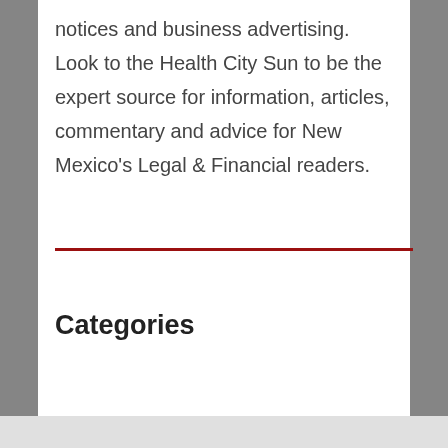notices and business advertising.  Look to the Health City Sun to be the expert source for information, articles, commentary and advice for New Mexico's Legal & Financial readers.
Categories
Home